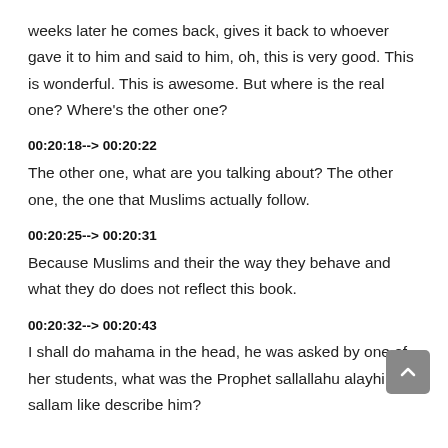weeks later he comes back, gives it back to whoever gave it to him and said to him, oh, this is very good. This is wonderful. This is awesome. But where is the real one? Where's the other one?
00:20:18--> 00:20:22
The other one, what are you talking about? The other one, the one that Muslims actually follow.
00:20:25--> 00:20:31
Because Muslims and their the way they behave and what they do does not reflect this book.
00:20:32--> 00:20:43
I shall do mahama in the head, he was asked by one of her students, what was the Prophet sallallahu alayhi wa sallam like describe him?